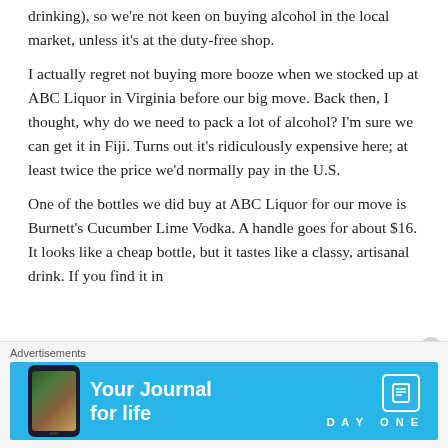drinking), so we're not keen on buying alcohol in the local market, unless it's at the duty-free shop.
I actually regret not buying more booze when we stocked up at ABC Liquor in Virginia before our big move. Back then, I thought, why do we need to pack a lot of alcohol? I'm sure we can get it in Fiji. Turns out it's ridiculously expensive here; at least twice the price we'd normally pay in the U.S.
One of the bottles we did buy at ABC Liquor for our move is Burnett's Cucumber Lime Vodka. A handle goes for about $16. It looks like a cheap bottle, but it tastes like a classy, artisanal drink. If you find it in
Advertisements
[Figure (other): Day One app advertisement banner with blue background, phone image, text 'Your Journal for life', and DAY ONE logo]